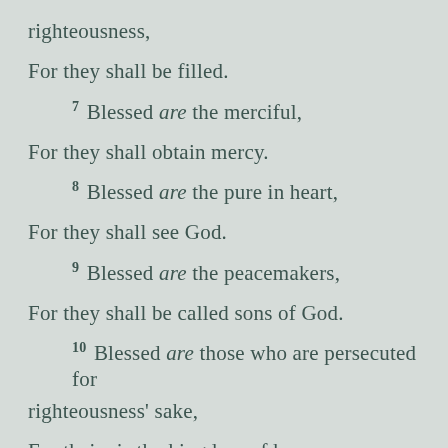righteousness,
For they shall be filled.
7 Blessed are the merciful,
For they shall obtain mercy.
8 Blessed are the pure in heart,
For they shall see God.
9 Blessed are the peacemakers,
For they shall be called sons of God.
10 Blessed are those who are persecuted for righteousness' sake,
For theirs is the kingdom of heaven.